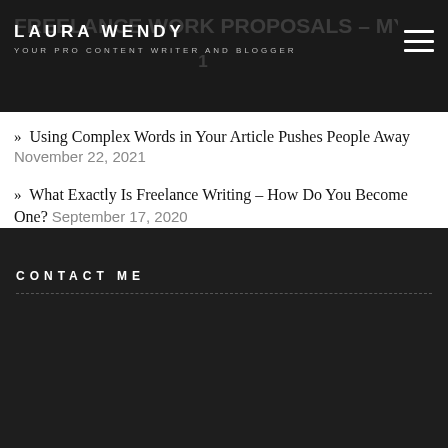LAURA WENDY – YOUR PRO CONTENT WRITER AND BLOGGER | FREELANCE WORK PROPOSALS – MY
» Using Complex Words in Your Article Pushes People Away November 22, 2021
» What Exactly Is Freelance Writing – How Do You Become One? September 17, 2020
CONTACT ME